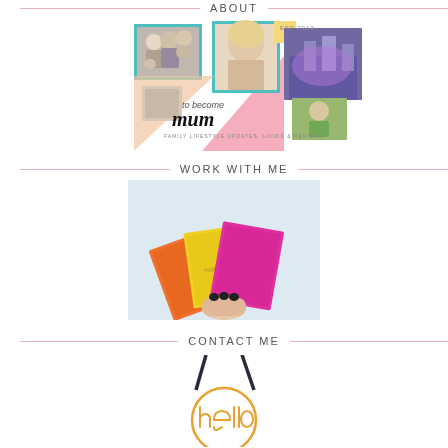ABOUT
[Figure (photo): Blog logo collage with family photos, portrait, castle photo, and 'to become mum' text with tagline 'family lifestyle updates, looks & reviews']
WORK WITH ME
[Figure (photo): Hand holding three bright colored notebooks/planners in orange, yellow, and pink/magenta fanned out]
CONTACT ME
[Figure (photo): A decorative 'hello' sign in orange wire lettering hanging from dark ribbons]